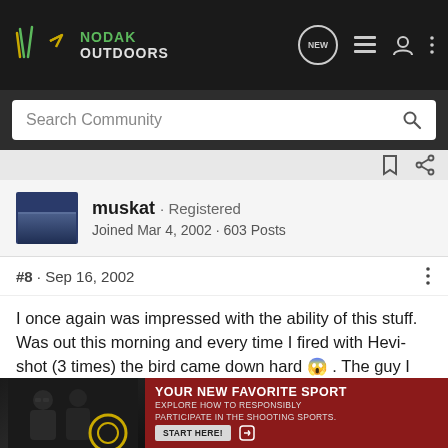NODAK OUTDOORS
Search Community
muskat · Registered
Joined Mar 4, 2002 · 603 Posts
#8 · Sep 16, 2002
I once again was impressed with the ability of this stuff. Was out this morning and every time I fired with Hevi-shot (3 times) the bird came down hard 😱 . The guy I was hunting with got one goose, but had to shoot him two times with steel.

I finally ran out of my original stock, but think I am going to purchase is there.
[Figure (screenshot): Advertisement overlay at bottom: photo of people on left, red background with 'YOUR NEW FAVORITE SPORT' text and 'START HERE!' button on right]